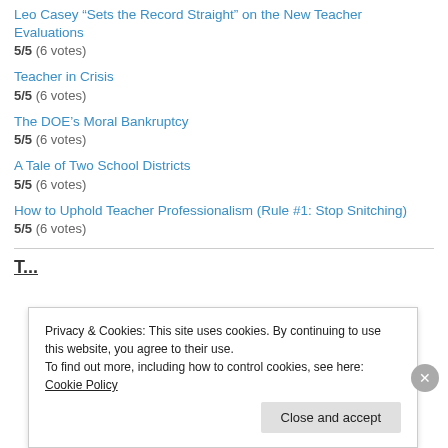Leo Casey “Sets the Record Straight” on the New Teacher Evaluations
5/5 (6 votes)
Teacher in Crisis
5/5 (6 votes)
The DOE’s Moral Bankruptcy
5/5 (6 votes)
A Tale of Two School Districts
5/5 (6 votes)
How to Uphold Teacher Professionalism (Rule #1: Stop Snitching)
5/5 (6 votes)
Privacy & Cookies: This site uses cookies. By continuing to use this website, you agree to their use.
To find out more, including how to control cookies, see here: Cookie Policy
Close and accept